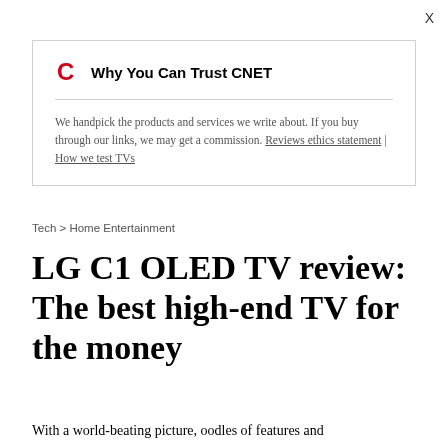X
Why You Can Trust CNET
We handpick the products and services we write about. If you buy through our links, we may get a commission. Reviews ethics statement | How we test TVs
Tech > Home Entertainment
LG C1 OLED TV review: The best high-end TV for the money
With a world-beating picture, oodles of features and